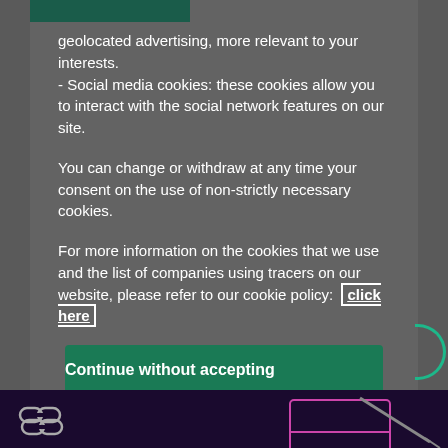geolocated advertising, more relevant to your interests.
- Social media cookies: these cookies allow you to interact with the social network features on our site.
You can change or withdraw at any time your consent on the use of non-strictly necessary cookies.
For more information on the cookies that we use and the list of companies using tracers on our website, please refer to our cookie policy: click here
Continue without accepting
Accept All Cookies
Cookies Settings
[Figure (screenshot): Dark purple/indigo banner at the bottom with technology icons]